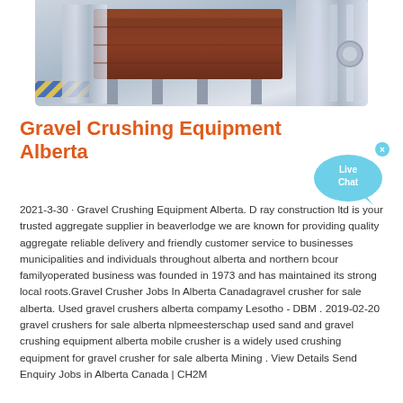[Figure (photo): Industrial gravel crushing/screening machinery in gray and brown tones, shown from a front-side angle]
Gravel Crushing Equipment Alberta
2021-3-30 · Gravel Crushing Equipment Alberta. D ray construction ltd is your trusted aggregate supplier in beaverlodge we are known for providing quality aggregate reliable delivery and friendly customer service to businesses municipalities and individuals throughout alberta and northern bcour familyoperated business was founded in 1973 and has maintained its strong local roots.Gravel Crusher Jobs In Alberta Canadagravel crusher for sale alberta. Used gravel crushers alberta compamy Lesotho - DBM . 2019-02-20 gravel crushers for sale alberta nlpmeesterschap used sand and gravel crushing equipment alberta mobile crusher is a widely used crushing equipment for gravel crusher for sale alberta Mining . View Details Send Enquiry Jobs in Alberta Canada | CH2M